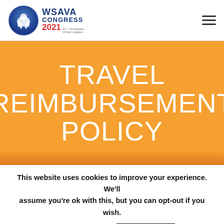[Figure (logo): WSAVA Congress 2021 Virtual Congress logo with blue circular emblem and text]
TRAVEL REIMBURSEMENT POLICY
This website uses cookies to improve your experience. We'll assume you're ok with this, but you can opt-out if you wish.
Cookie settings   ACCEPT